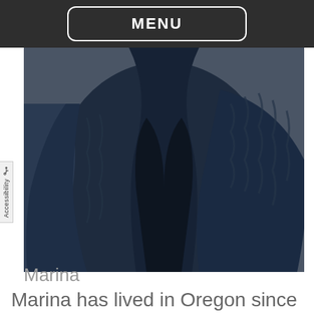MENU
[Figure (photo): Close-up photo of a person wearing a dark navy blue cable-knit cardigan or sweater over a dark top, torso and sleeve visible, blurred background]
Marina
Marina has lived in Oregon since